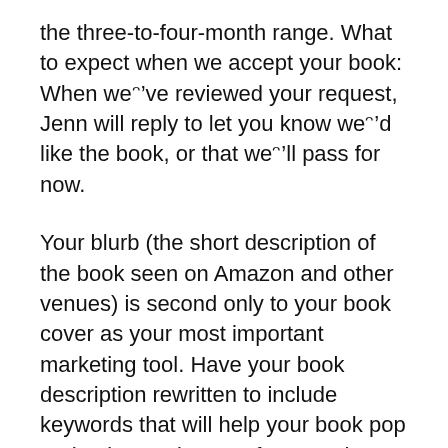the three-to-four-month range. What to expect when we accept your book: When we’ve reviewed your request, Jenn will reply to let you know we’d like the book, or that we’ll pass for now.
Your blurb (the short description of the book seen on Amazon and other venues) is second only to your book cover as your most important marketing tool. Have your book description rewritten to include keywords that will help your book pop and gain new interest from readers to get more sales and appear more often in search results. If you have written a book which you would like reviewed, please send it